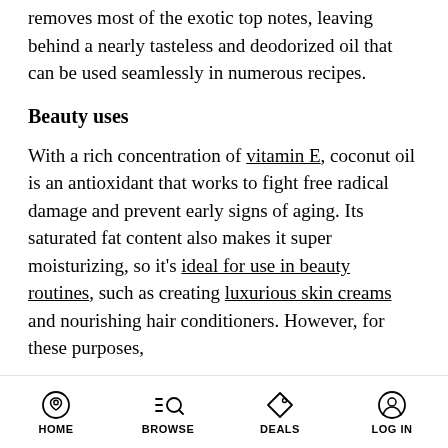removes most of the exotic top notes, leaving behind a nearly tasteless and deodorized oil that can be used seamlessly in numerous recipes.
Beauty uses
With a rich concentration of vitamin E, coconut oil is an antioxidant that works to fight free radical damage and prevent early signs of aging. Its saturated fat content also makes it super moisturizing, so it's ideal for use in beauty routines, such as creating luxurious skin creams and nourishing hair conditioners. However, for these purposes,
HOME  BROWSE  DEALS  LOG IN